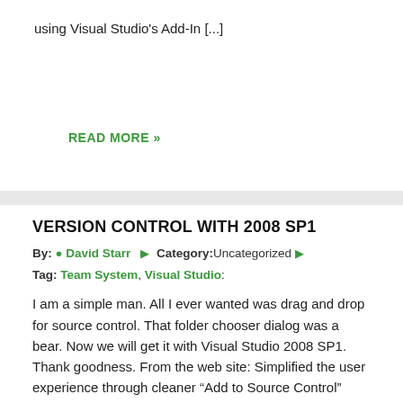using Visual Studio's Add-In [...]
READ MORE »
VERSION CONTROL WITH 2008 SP1
By: David Starr   Category:Uncategorized   Tag: Team System, Visual Studio:
I am a simple man. All I ever wanted was drag and drop for source control. That folder chooser dialog was a bear. Now we will get it with Visual Studio 2008 SP1. Thank goodness. From the web site: Simplified the user experience through cleaner "Add to Source Control" dialogs, drag and drop support to [...]
READ MORE »